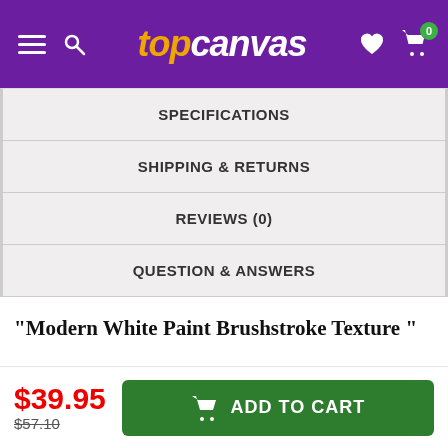topcanvas
SPECIFICATIONS
SHIPPING & RETURNS
REVIEWS (0)
QUESTION & ANSWERS
“Modern White Paint Brushstroke Texture ”
$39.95  $57.10  ADD TO CART